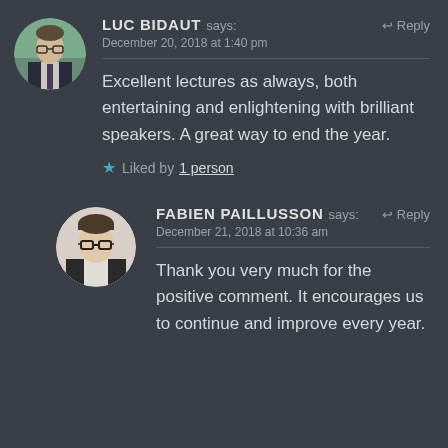[Figure (photo): Circular avatar of Luc Bidaut, man with glasses and suit]
LUC BIDAUT says: Reply
December 20, 2018 at 1:40 pm
Excellent lectures as always, both entertaining and enlightening with brilliant speakers. A great way to end the year.
★ Liked by 1 person
[Figure (photo): Circular avatar of Fabien Paillusson, man with glasses]
FABIEN PAILLUSSON says: Reply
December 21, 2018 at 10:36 am
Thank you very much for the positive comment. It encourages us to continue and improve every year.